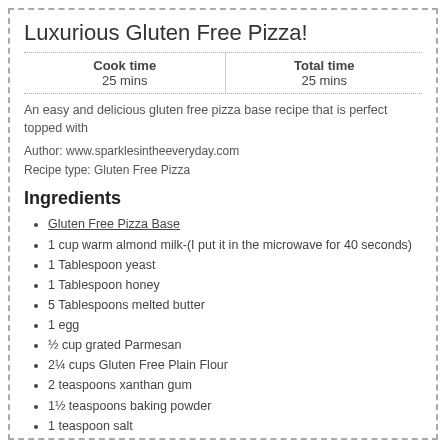Luxurious Gluten Free Pizza!
| Cook time | Total time |
| --- | --- |
| 25 mins | 25 mins |
An easy and delicious gluten free pizza base recipe that is perfect topped with
Author: www.sparklesintheeveryday.com
Recipe type: Gluten Free Pizza
Ingredients
Gluten Free Pizza Base
1 cup warm almond milk-(I put it in the microwave for 40 seconds)
1 Tablespoon yeast
1 Tablespoon honey
5 Tablespoons melted butter
1 egg
½ cup grated Parmesan
2¼ cups Gluten Free Plain Flour
2 teaspoons xanthan gum
1½ teaspoons baking powder
1 teaspoon salt
Toppings to your liking but we use...
Fresh Tomato slices
Fresh Rocket
Mozzarella
Olives